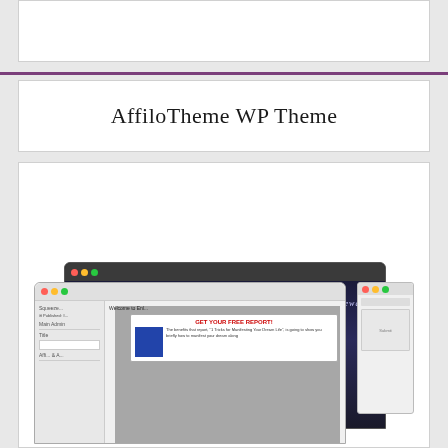AffiloTheme WP Theme
[Figure (screenshot): Screenshot of AffiloTheme WordPress theme interface showing a dark space-themed website called 'enlightenment gateway' with a 'GET YOUR FREE REPORT!' popup, alongside a WordPress admin sidebar panel.]